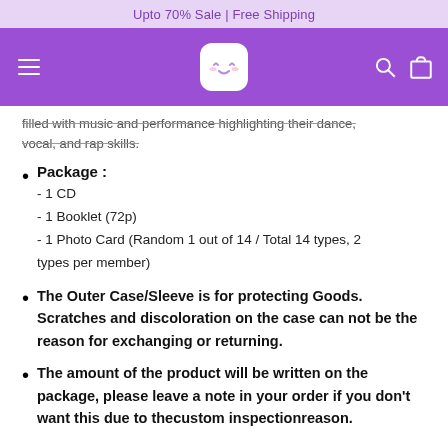Upto 70% Sale | Free Shipping
[Figure (logo): E-commerce site navigation bar with hamburger menu, white marshmallow-face logo, search icon, and cart icon on purple background]
filled with music and performance highlighting their dance, vocal, and rap skills.
Package : - 1 CD - 1 Booklet (72p) - 1 Photo Card (Random 1 out of 14 / Total 14 types, 2 types per member)
The Outer Case/Sleeve is for protecting Goods. Scratches and discoloration on the case can not be the reason for exchanging or returning.
The amount of the product will be written on the package, please leave a note in your order if you don't want this due to thecustom inspectionreason.